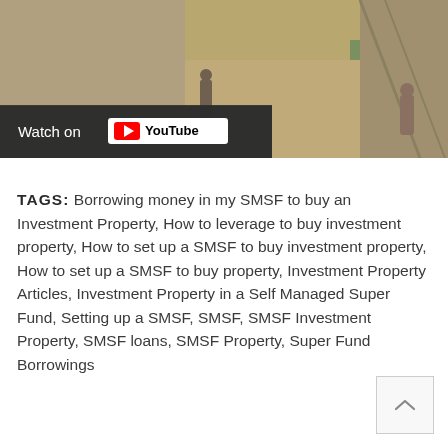[Figure (screenshot): YouTube video thumbnail showing a shopping mall interior with escalators. A 'Watch on YouTube' overlay button is visible at the bottom left of the video.]
TAGS: Borrowing money in my SMSF to buy an Investment Property, How to leverage to buy investment property, How to set up a SMSF to buy investment property, How to set up a SMSF to buy property, Investment Property Articles, Investment Property in a Self Managed Super Fund, Setting up a SMSF, SMSF, SMSF Investment Property, SMSF loans, SMSF Property, Super Fund Borrowings